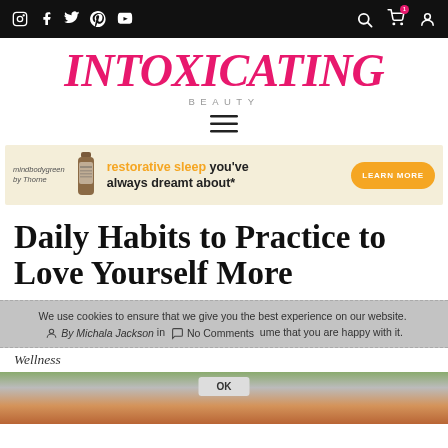Intoxicating Beauty - navigation bar with social icons and cart/account icons
INTOXICATING BEAUTY
[Figure (logo): Intoxicating Beauty logo with large pink italic serif text and 'BEAUTY' subtitle in grey]
[Figure (infographic): Advertisement banner: mindbodygreen by Thorne supplement bottle, text: restorative sleep you've always dreamt about*, with orange LEARN MORE button]
Daily Habits to Practice to Love Yourself More
We use cookies to ensure that we give you the best experience on our website. By Michala Jackson in No Comments. continue to use this site we will assume that you are happy with it.
Wellness
[Figure (photo): Bottom portion of article page showing a blurred nature/wellness photo with warm tones]